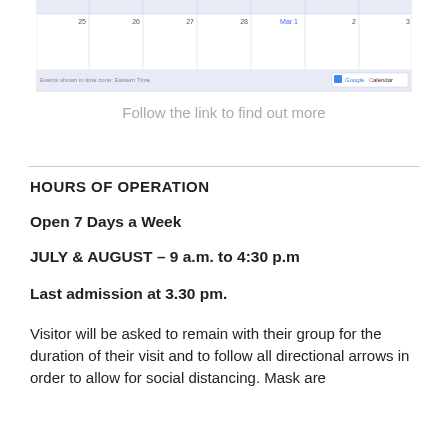[Figure (screenshot): Google Calendar screenshot showing a weekly view with dates 25, 26, 27, 28, Mar 1, 2, 3. Footer reads 'Events shown in time zone: Eastern Time' with a Google Calendar button.]
Follow the link to find out more
HOURS OF OPERATION
Open 7 Days a Week
JULY & AUGUST – 9 a.m. to 4:30 p.m
Last admission at 3.30 pm.
Visitor will be asked to remain with their group for the duration of their visit and to follow all directional arrows in order to allow for social distancing. Mask are